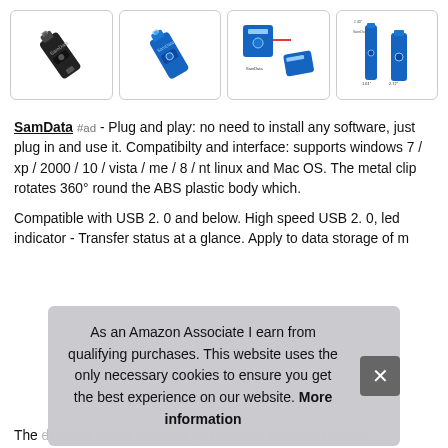[Figure (photo): Four product images of SamData USB flash drives: black USB drive, blue USB drive, diagram showing connectivity, and a side/size comparison view of blue drives]
SamData #ad - Plug and play: no need to install any software, just plug in and use it. Compatibilty and interface: supports windows 7 / xp / 2000 / 10 / vista / me / 8 / nt linux and Mac OS. The metal clip rotates 360° round the ABS plastic body which.
Compatible with USB 2. 0 and below. High speed USB 2. 0, led indicator - Transfer status at a glance. Apply to data storage of m
As an Amazon Associate I earn from qualifying purchases. This website uses the only necessary cookies to ensure you get the best experience on our website. More information
The different colors can help you to store different content.